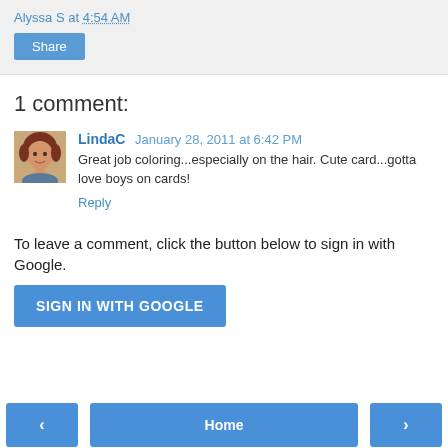Alyssa S at 4:54 AM
Share
1 comment:
[Figure (photo): Avatar photo of LindaC, a woman with short reddish-brown hair]
LindaC January 28, 2011 at 6:42 PM
Great job coloring...especially on the hair. Cute card...gotta love boys on cards!
Reply
To leave a comment, click the button below to sign in with Google.
SIGN IN WITH GOOGLE
‹
Home
›